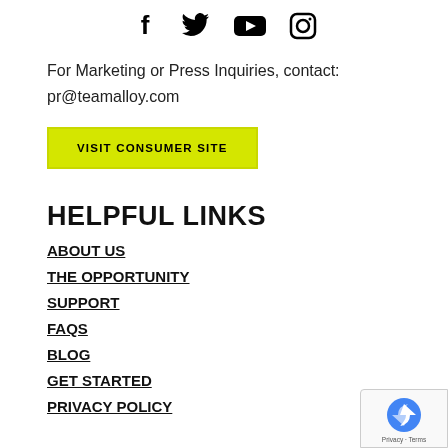[Figure (other): Social media icons: Facebook, Twitter, YouTube, Instagram]
For Marketing or Press Inquiries, contact:
pr@teamalloy.com
VISIT CONSUMER SITE
HELPFUL LINKS
ABOUT US
THE OPPORTUNITY
SUPPORT
FAQS
BLOG
GET STARTED
PRIVACY POLICY